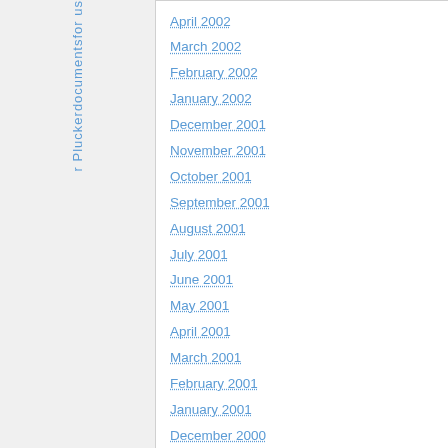r P l u c k e r d o c u m e n t s f o r u s
April 2002
March 2002
February 2002
January 2002
December 2001
November 2001
October 2001
September 2001
August 2001
July 2001
June 2001
May 2001
April 2001
March 2001
February 2001
January 2001
December 2000